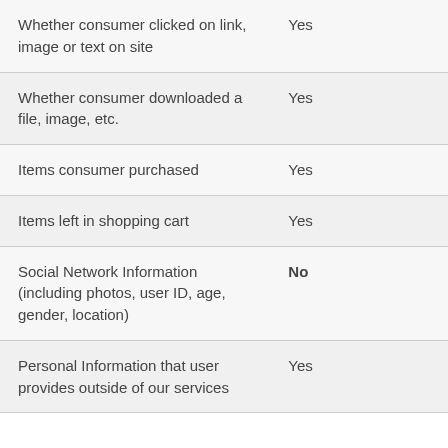| Whether consumer clicked on link, image or text on site | Yes |
| Whether consumer downloaded a file, image, etc. | Yes |
| Items consumer purchased | Yes |
| Items left in shopping cart | Yes |
| Social Network Information (including photos, user ID, age, gender, location) | No |
| Personal Information that user provides outside of our services | Yes |